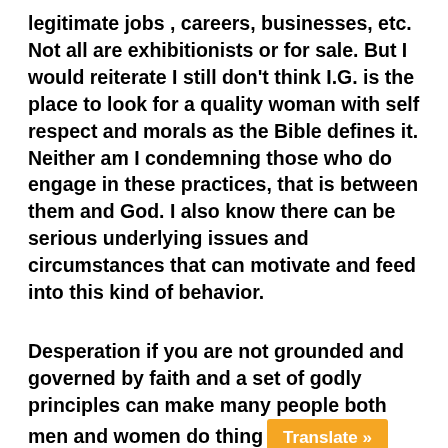legitimate jobs , careers, businesses, etc. Not all are exhibitionists or for sale. But I would reiterate I still don't think I.G. is the place to look for a quality woman with self respect and morals as the Bible defines it. Neither am I condemning those who do engage in these practices, that is between them and God. I also know there can be serious underlying issues and circumstances that can motivate and feed into this kind of behavior.
Desperation if you are not grounded and governed by faith and a set of godly principles can make many people both men and women do thing [Translate »]